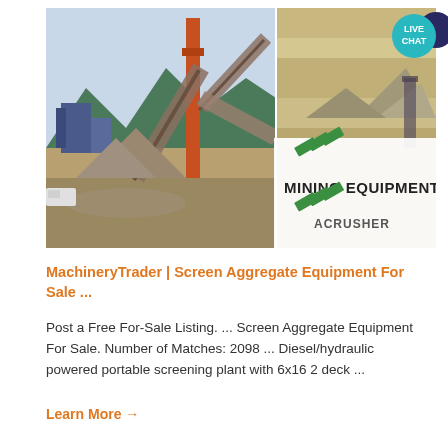[Figure (photo): A composite image: left half shows a mining/aggregate screening plant with orange conveyor belts and machinery against a mountain backdrop; right half shows a sandy/gravel area with an overlay logo reading 'MINING EQUIPMENT ACRUSHER' with green diagonal stripes. A teal 'LIVE CHAT' speech bubble is in the upper right corner.]
MachineryTrader | Screen Aggregate Equipment For Sale ...
Post a Free For-Sale Listing. ... Screen Aggregate Equipment For Sale. Number of Matches: 2098 ... Diesel/hydraulic powered portable screening plant with 6x16 2 deck ...
Learn More →